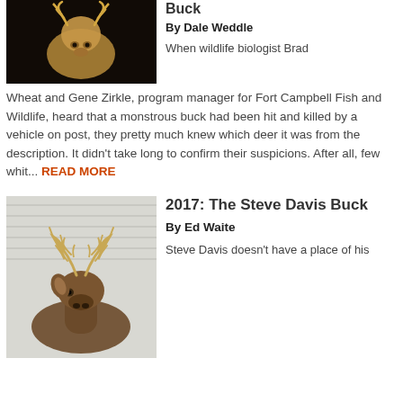[Figure (photo): Taxidermy mount of a whitetail deer buck against dark background, showing large antlers and head]
Buck
By Dale Weddle
When wildlife biologist Brad Wheat and Gene Zirkle, program manager for Fort Campbell Fish and Wildlife, heard that a monstrous buck had been hit and killed by a vehicle on post, they pretty much knew which deer it was from the description. It didn't take long to confirm their suspicions. After all, few whit... READ MORE
[Figure (photo): Live whitetail buck with large antlers standing in front of white siding, photographed from the side]
2017: The Steve Davis Buck
By Ed Waite
Steve Davis doesn't have a place of his